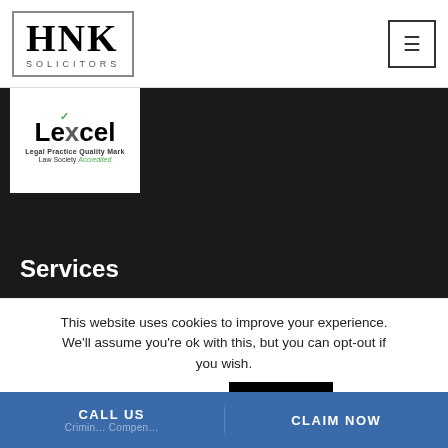[Figure (logo): HNK Solicitors logo in a rectangular border with large serif font letters HNK and 'SOLICITORS' in small caps below]
[Figure (logo): Lexcel Legal Practice Quality Mark Law Society Accredited badge in white box]
Services
This website uses cookies to improve your experience. We'll assume you're ok with this, but you can opt-out if you wish.  Cookie settings  ACCEPT
CALL US   CLAIM NOW